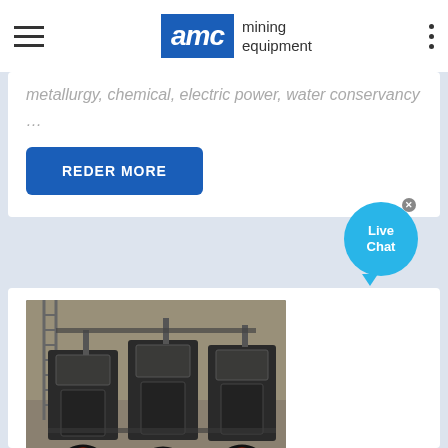AMC mining equipment
metallurgy, chemical, electric power, water conservancy …
REDER MORE
[Figure (photo): Industrial stone crusher machines with red flywheels in a factory setting]
Sample Of Quotation Of Stone Crusher Machine